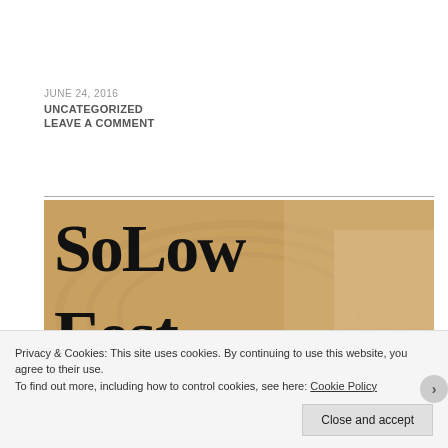JUNE 24, 2016
UNCATEGORIZED
LEAVE A COMMENT
[Figure (photo): SoLow Fest banner image with large black decorative text reading 'SoLow Fest' over a warm brownish background with a blurred hand visible on the right side]
Privacy & Cookies: This site uses cookies. By continuing to use this website, you agree to their use. To find out more, including how to control cookies, see here: Cookie Policy
Close and accept